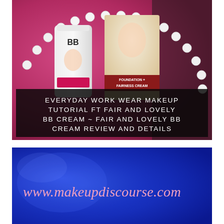[Figure (photo): Top photo showing two Fair and Lovely beauty products (a tube/BB cream and a foundation box) arranged on a pink surface surrounded by a pearl necklace. A dark semi-transparent overlay banner sits over the bottom portion of the photo containing the article title text.]
EVERYDAY WORK WEAR MAKEUP TUTORIAL FT FAIR AND LOVELY BB CREAM ~ FAIR AND LOVELY BB CREAM REVIEW AND DETAILS
[Figure (photo): Bottom photo showing a blue shiny metallic surface with the text 'www.makeupdiscourse.com' written in pink italic script letters.]